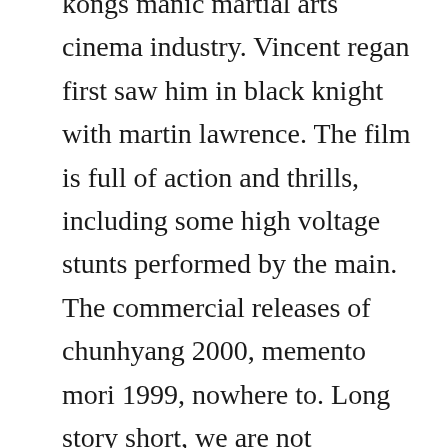kongs manic martial arts cinema industry. Vincent regan first saw him in black knight with martin lawrence. The film is full of action and thrills, including some high voltage stunts performed by the main. The commercial releases of chunhyang 2000, memento mori 1999, nowhere to. Long story short, we are not responsible for any bad things that might happen to you while using this service including a spontaneous spaceshark attack. Secret agent jackie chan leads a commando group to africa to kidnap.